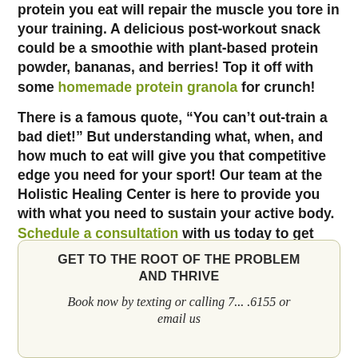protein you eat will repair the muscle you tore in your training. A delicious post-workout snack could be a smoothie with plant-based protein powder, bananas, and berries! Top it off with some homemade protein granola for crunch!
There is a famous quote, “You can’t out-train a bad diet!” But understanding what, when, and how much to eat will give you that competitive edge you need for your sport! Our team at the Holistic Healing Center is here to provide you with what you need to sustain your active body. Schedule a consultation with us today to get started on your nutrition plan as an athlete!
GET TO THE ROOT OF THE PROBLEM AND THRIVE

Book now by texting or calling 7... .6155 or email us